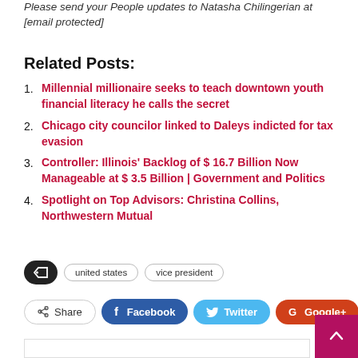Please send your People updates to Natasha Chilingerian at [email protected]
Related Posts:
Millennial millionaire seeks to teach downtown youth financial literacy he calls the secret
Chicago city councilor linked to Daleys indicted for tax evasion
Controller: Illinois' Backlog of $ 16.7 Billion Now Manageable at $ 3.5 Billion | Government and Politics
Spotlight on Top Advisors: Christina Collins, Northwestern Mutual
united states  vice president
Share  Facebook  Twitter  Google+